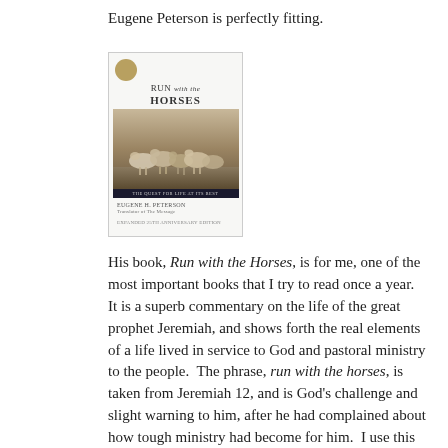Eugene Peterson is perfectly fitting.
[Figure (photo): Book cover of 'Run with the Horses' by Eugene H. Peterson, showing a photo of running horses, with a gold medal emblem, dark subtitle bar, and author name below.]
His book, Run with the Horses, is for me, one of the most important books that I try to read once a year.  It is a superb commentary on the life of the great prophet Jeremiah, and shows forth the real elements of a life lived in service to God and pastoral ministry to the people.  The phrase, run with the horses, is taken from Jeremiah 12, and is God's challenge and slight warning to him, after he had complained about how tough ministry had become for him.  I use this phrase, and